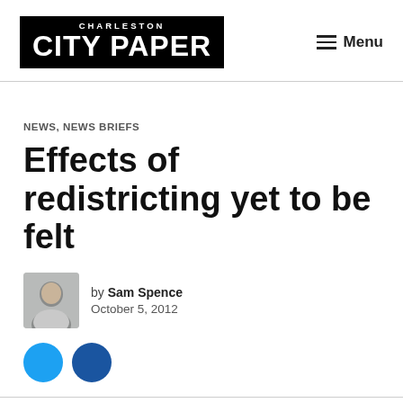CHARLESTON CITY PAPER
NEWS, NEWS BRIEFS
Effects of redistricting yet to be felt
by Sam Spence
October 5, 2012